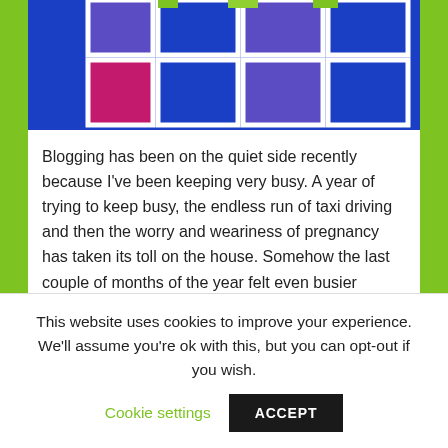[Figure (photo): Colorful knitted/crocheted blanket with blue, purple, green, and magenta squares on white background]
Blogging has been on the quiet side recently because I've been keeping very busy. A year of trying to keep busy, the endless run of taxi driving and then the worry and weariness of pregnancy has taken its toll on the house. Somehow the last couple of months of the year felt even busier than […]
FILED UNDER: CREATIVE EVERY DAY, FAMILY LIFE, KNITTING & SEWING, THINKING, UNCATEGORIZED
TAGGED WITH: 2011, DECLUTTERING, KNITTED RAINBOW BABY BLANKET
This website uses cookies to improve your experience. We'll assume you're ok with this, but you can opt-out if you wish.
Cookie settings    ACCEPT